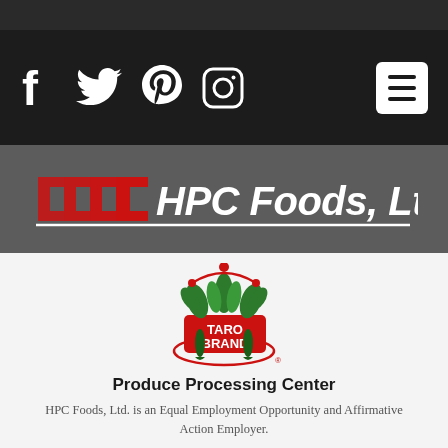[Figure (logo): HPC Foods, Ltd. logo with red arrow graphic and italic white text on dark background, social media icons (Facebook, Twitter, Pinterest, Instagram) and hamburger menu button]
[Figure (logo): Taro Brand circular logo with red and green taro plant illustration]
Produce Processing Center
HPC Foods, Ltd. is an Equal Employment Opportunity and Affirmative Action Employer.